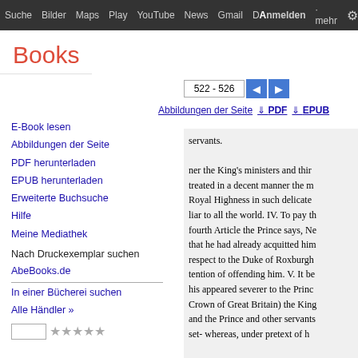Suche  Bilder  Maps  Play  YouTube  News  Gmail  D...mehr  Anmelden  ⚙
Books
522 - 526
Abbildungen der Seite  ↓ PDF  ↓ EPUB
E-Book lesen
Abbildungen der Seite
PDF herunterladen
EPUB herunterladen
Erweiterte Buchsuche
Hilfe
Meine Mediathek
Nach Druckexemplar suchen
AbeBooks.de
In einer Bücherei suchen
Alle Händler »
servants.

ner the King's ministers and thir
treated in a decent manner the m
Royal Highness in such delicate
liar to all the world. IV. To pay th
fourth Article the Prince says, Ne
that he had already acquitted him
respect to the Duke of Roxburgh
tention of offending him. V. It be
his appeared severer to the Princ
Crown of Great Britain) the King
and the Prince and other servants
set- whereas, under pretext of h